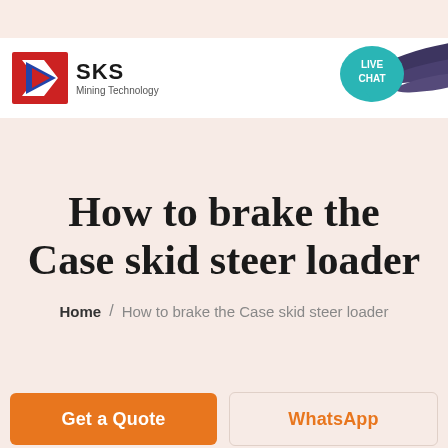SKS Mining Technology
How to brake the Case skid steer loader
Home / How to brake the Case skid steer loader
Get a Quote
WhatsApp